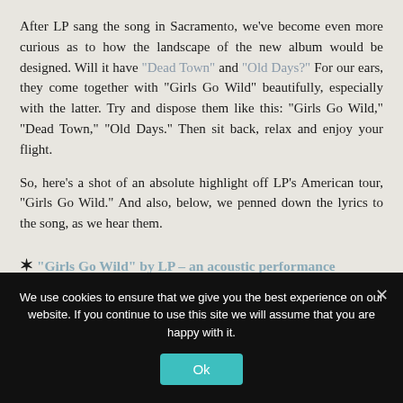After LP sang the song in Sacramento, we've become even more curious as to how the landscape of the new album would be designed. Will it have "Dead Town" and "Old Days?" For our ears, they come together with "Girls Go Wild" beautifully, especially with the latter. Try and dispose them like this: "Girls Go Wild," "Dead Town," "Old Days." Then sit back, relax and enjoy your flight.
So, here's a shot of an absolute highlight off LP's American tour, "Girls Go Wild." And also, below, we penned down the lyrics to the song, as we hear them.
✶ "Girls Go Wild" by LP – an acoustic performance
We use cookies to ensure that we give you the best experience on our website. If you continue to use this site we will assume that you are happy with it.